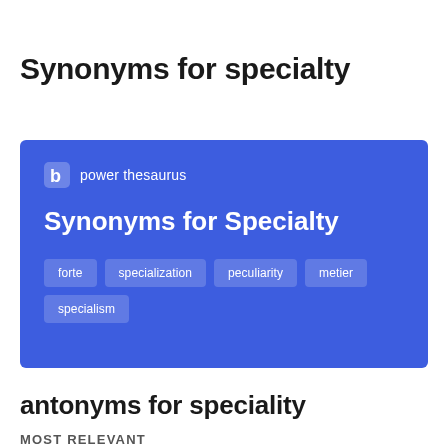Synonyms for specialty
[Figure (screenshot): Power Thesaurus blue card showing 'Synonyms for Specialty' with synonym tags: forte, specialization, peculiarity, metier, specialism]
antonyms for speciality
MOST RELEVANT